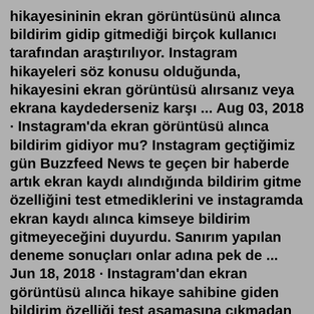hikayesininin ekran görüntüsünü alınca bildirim gidip gitmediği birçok kullanıcı tarafından araştırılıyor. Instagram hikayeleri söz konusu olduğunda, hikayesini ekran görüntüsü alırsanız veya ekrana kaydederseniz karşı ... Aug 03, 2018 · Instagram'da ekran görüntüsü alınca bildirim gidiyor mu? Instagram geçtiğimiz gün Buzzfeed News te geçen bir haberde artık ekran kaydı alındığında bildirim gitme özelliğini test etmediklerini ve instagramda ekran kaydı alınca kimseye bildirim gitmeyeceğini duyurdu. Sanırım yapılan deneme sonuçları onlar adına pek de ... Jun 18, 2018 · Instagram'dan ekran görüntüsü alınca hikaye sahibine giden bildirim özelliği test aşamasına çıkmadan devreden kaldırıldı. Instagram'a bomba gibi özellik geldi Yapılan açıklamada bu özelliğin kullanılmayacağı söylense de önümüzdeki günlerde kullanıcıların tepkilerine göre Instagram bu özelliği tekrar ... Kaydetmek istediğiniz gönderinin yanında bulunan imlece tıklayarak işlemi